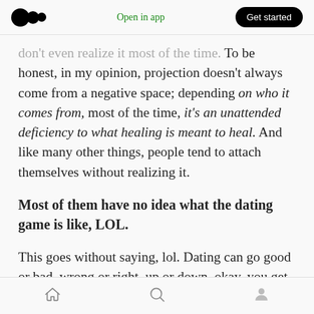Medium logo | Open in app | Get started
don't even realize it most of the time. To be honest, in my opinion, projection doesn't always come from a negative space; depending on who it comes from, most of the time, it's an unattended deficiency to what healing is meant to heal. And like many other things, people tend to attach themselves without realizing it.
Most of them have no idea what the dating game is like, LOL.
This goes without saying, lol. Dating can go good or bad, wrong or right, up or down, okay, you get it.
Home | Search | Profile